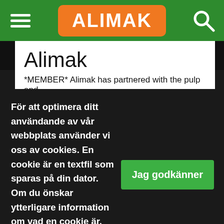[Figure (logo): Alimak logo in white bold text on orange rounded rectangle background, flanked by green hamburger menu icon on left and green search icon on right]
Alimak
*MEMBER* Alimak has partnered with the pulp and
För att optimera ditt användande av vår webbplats använder vi oss av cookies. En cookie är en textfil som sparas på din dator. Om du önskar ytterligare information om vad en cookie är, vilka cookies vi använder, vad syftet med cookien är eller hur du kan blockera eller radera cookies, vänligen läs Om cookies.